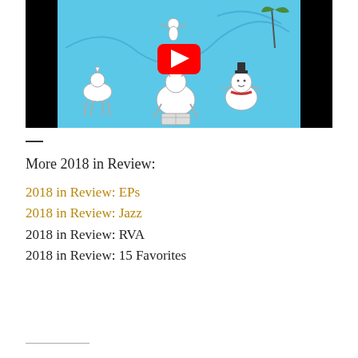[Figure (screenshot): YouTube video thumbnail showing cartoon illustrated animals on a blue background with a YouTube play button overlay.]
—
More 2018 in Review:
2018 in Review: EPs
2018 in Review: Jazz
2018 in Review: RVA
2018 in Review: 15 Favorites